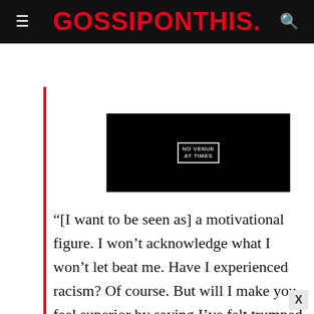GOSSIPONTHIS.
[Figure (screenshot): Embedded video player with black background and a small logo/watermark in the center]
“[I want to be seen as] a motivational figure. I won’t acknowledge what I won’t let beat me. Have I experienced racism? Of course. But will I make you feel superior by saying I’ve felt trumped at times? No. I’ll